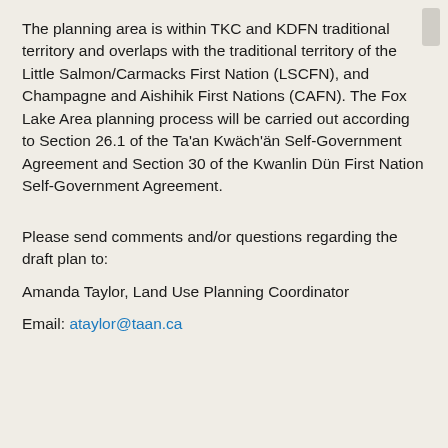The planning area is within TKC and KDFN traditional territory and overlaps with the traditional territory of the Little Salmon/Carmacks First Nation (LSCFN), and Champagne and Aishihik First Nations (CAFN). The Fox Lake Area planning process will be carried out according to Section 26.1 of the Ta'an Kwäch'än Self-Government Agreement and Section 30 of the Kwanlin Dün First Nation Self-Government Agreement.
Please send comments and/or questions regarding the draft plan to:
Amanda Taylor, Land Use Planning Coordinator
Email: ataylor@taan.ca